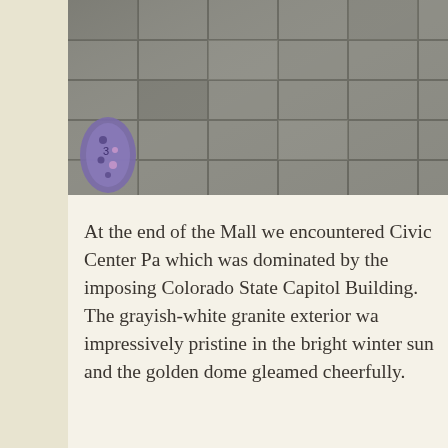[Figure (photo): Top portion of a photo showing gray stone pavement tiles with what appears to be a colorful patterned boot or shoe visible at the lower left corner]
At the end of the Mall we encountered Civic Center Pa which was dominated by the imposing Colorado State Capitol Building. The grayish-white granite exterior wa impressively pristine in the bright winter sun and the golden dome gleamed cheerfully.
[Figure (photo): Outdoor winter scene showing bare leafless trees against a bright blue sky with wispy clouds, and the top of a building (Colorado State Capitol) visible at the lower right corner]